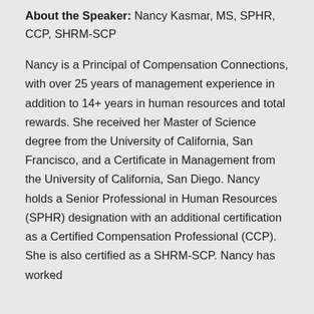About the Speaker: Nancy Kasmar, MS, SPHR, CCP, SHRM-SCP
Nancy is a Principal of Compensation Connections, with over 25 years of management experience in addition to 14+ years in human resources and total rewards. She received her Master of Science degree from the University of California, San Francisco, and a Certificate in Management from the University of California, San Diego. Nancy holds a Senior Professional in Human Resources (SPHR) designation with an additional certification as a Certified Compensation Professional (CCP). She is also certified as a SHRM-SCP. Nancy has worked